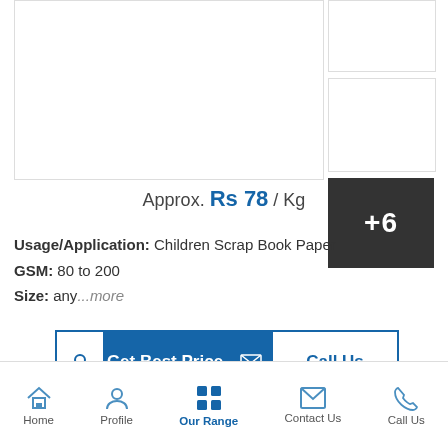[Figure (photo): Product image area showing scrap book paper, with two thumbnail images to the right and a dark overlay showing +6 more images]
Approx. Rs 78 / Kg
Usage/Application: Children Scrap Book Paper
GSM: 80 to 200
Size: any...more
Get Best Price
Call Us
Home  Profile  Our Range  Contact Us  Call Us